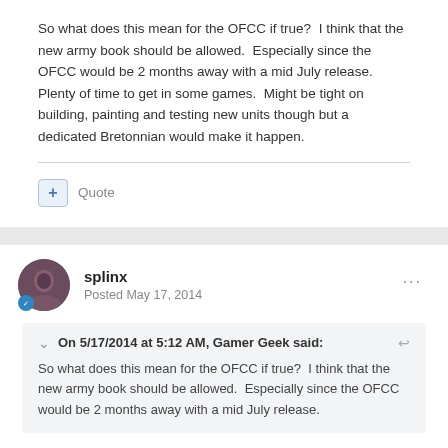So what does this mean for the OFCC if true?  I think that the new army book should be allowed.  Especially since the OFCC would be 2 months away with a mid July release. Plenty of time to get in some games.  Might be tight on building, painting and testing new units though but a dedicated Bretonnian would make it happen.
+ Quote
splinx
Posted May 17, 2014
On 5/17/2014 at 5:12 AM, Gamer Geek said:
So what does this mean for the OFCC if true?  I think that the new army book should be allowed.  Especially since the OFCC would be 2 months away with a mid July release.